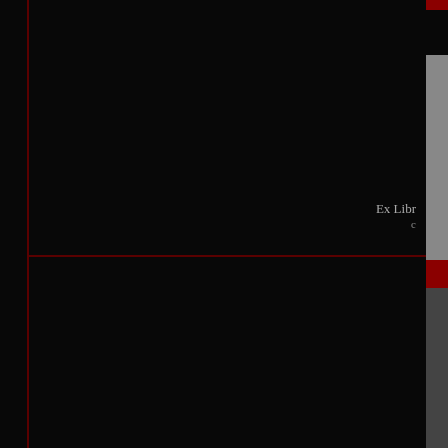[Figure (other): Dark page scan showing a mostly black background with a dark red vertical border line on the left, a gray/silver vertical bar on the right edge, a small red accent bar at top right, text reading 'Ex Libr' and 'C' partially visible at right center, and a red horizontal accent line near the middle-right area.]